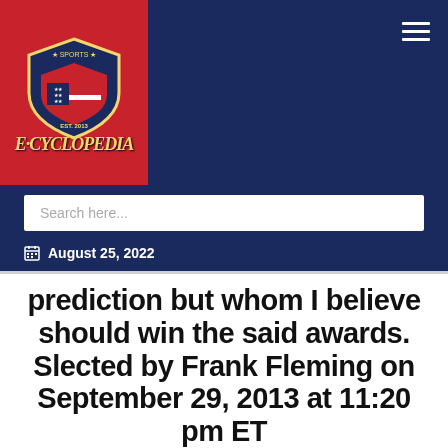[Figure (logo): Sports E-Cyclopedia logo on red background with shield emblem]
August 25, 2022
prediction but whom I believe should win the said awards. Slected by Frank Fleming on September 29, 2013 at 11:20 pm ET
[Figure (photo): Sports drinks bottles photo — Fruit Punch 28oz and Superior Hydration bottles on red and white background]